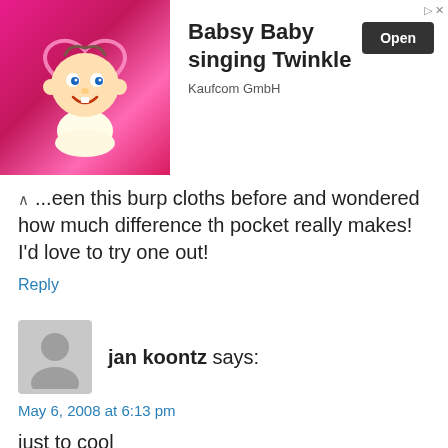[Figure (other): Advertisement banner: Babsy Baby singing Twinkle by Kaufcom GmbH, with cartoon baby image and Open button]
...een this burp cloths before and wondered how much difference th pocket really makes! I'd love to try one out!
Reply
jan koontz says:
May 6, 2008 at 6:13 pm
just to cool
Reply